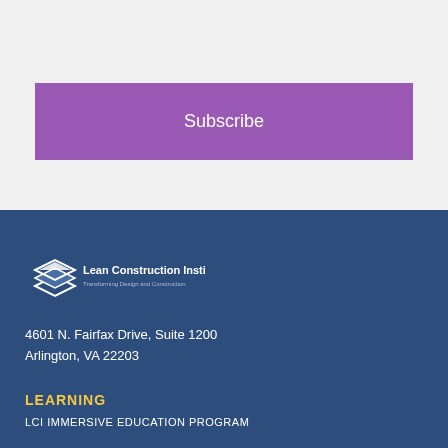Keep current on LCI news and Lean project delivery.
Subscribe
[Figure (logo): Lean Construction Institute logo with stacked geometric shapes and text 'Lean Construction Institute - Transforming Design and Construction']
4601 N. Fairfax Drive, Suite 1200
Arlington, VA 22203
LEARNING
LCI IMMERSIVE EDUCATION PROGRAM